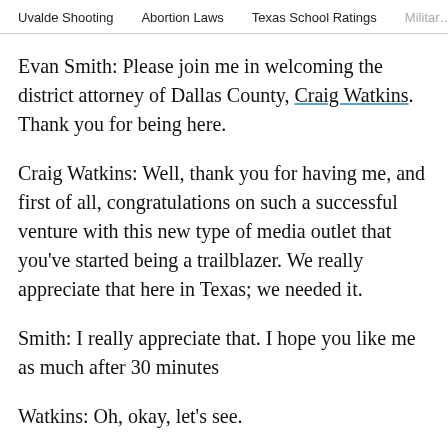Uvalde Shooting   Abortion Laws   Texas School Ratings   Military
Evan Smith: Please join me in welcoming the district attorney of Dallas County, Craig Watkins. Thank you for being here.
Craig Watkins: Well, thank you for having me, and first of all, congratulations on such a successful venture with this new type of media outlet that you've started being a trailblazer. We really appreciate that here in Texas; we needed it.
Smith: I really appreciate that. I hope you like me as much after 30 minutes
Watkins: Oh, okay, let's see.
Smith: Let's see.
Smith: Let me begin by asking you about the